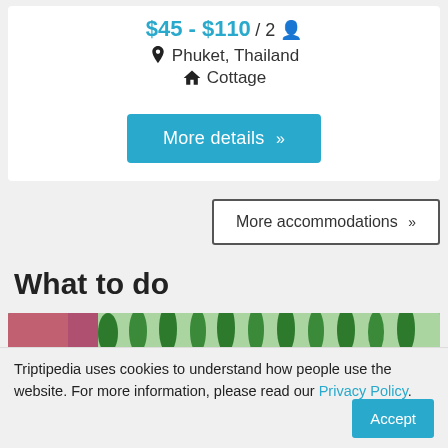$45 - $110 / 2 persons
Phuket, Thailand
Cottage
More details »
More accommodations »
What to do
[Figure (photo): Aerial or elevated view of a garden/park with tall cypress trees, green hedges, and a pink/red building on the left]
Triptipedia uses cookies to understand how people use the website. For more information, please read our Privacy Policy.